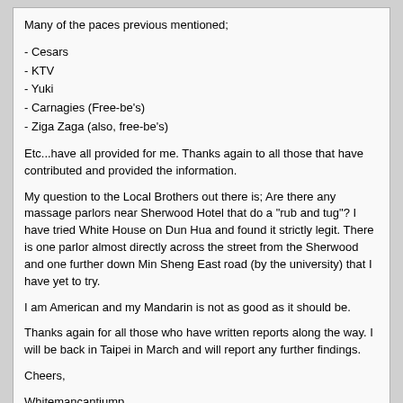Many of the paces previous mentioned;
- Cesars
- KTV
- Yuki
- Carnagies (Free-be's)
- Ziga Zaga (also, free-be's)
Etc...have all provided for me. Thanks again to all those that have contributed and provided the information.
My question to the Local Brothers out there is; Are there any massage parlors near Sherwood Hotel that do a "rub and tug"? I have tried White House on Dun Hua and found it strictly legit. There is one parlor almost directly across the street from the Sherwood and one further down Min Sheng East road (by the university) that I have yet to try.
I am American and my Mandarin is not as good as it should be.
Thanks again for all those who have written reports along the way. I will be back in Taipei in March and will report any further findings.
Cheers,
Whitemancantjump
Hsl Hsl   02-20-10, 04:34
Don't give me wrong, I would't kick Chiling off my bed, but many friends and I do really think she is overrated. Her type quality or higher def. avaliable in TP, but it can be quite costly.How costly are we talking about? I saw another brother's message below that such quality is avail at ktvs but is it also accessible via outcalls to hotels which is probably more discrete? I prefer more discrete if possible.
Thanks!